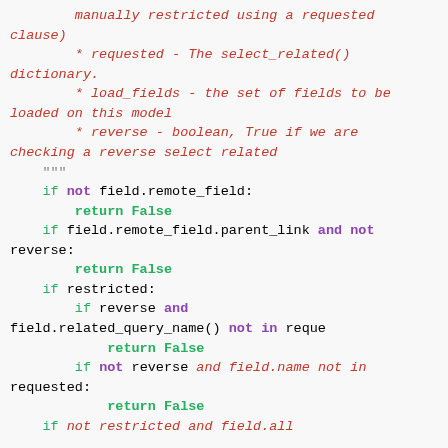Code snippet showing Python docstring comments (requested, load_fields, reverse parameters) and if/return statements with tooltips for Getting Help, Langue: fr, and Version de la documentation: 2.0